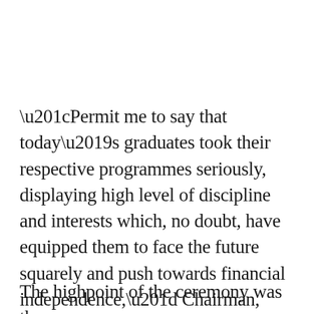“Permit me to say that today’s graduates took their respective programmes seriously, displaying high level of discipline and interests which, no doubt, have equipped them to face the future squarely and push towards financial independence,” Chairman, Inner Wheel District 911 Nigeria, Mrs Olayinka Ayanwale, said while giving reasons for the proud display.
The highpoint of the ceremony was the distribution of...